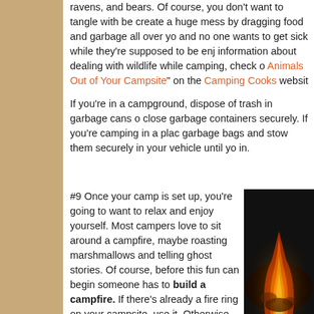ravens, and bears. Of course, you don't want to tangle with bears, create a huge mess by dragging food and garbage all over your site, and no one wants to get sick while they're supposed to be enjoying information about dealing with wildlife while camping, check out "Keeping Animals Out of Your Campsite" on the Camping Cooks website.
If you're in a campground, dispose of trash in garbage cans or close garbage containers securely. If you're camping in a place with garbage bags and stow them securely in your vehicle until you turn in.
#9 Once your camp is set up, you're going to want to relax and enjoy yourself. Most campers love to sit around a campfire, maybe roasting marshmallows and telling ghost stories. Of course, before this fun can begin someone has to build a campfire. If there's already a fire ring on your campsite, use it. Otherwise, build one with stones. Do NOT start a fire on bare ground. Also, you need a source of water, a bucket, and a shovel on hand at all times during your fire building and enjoyment.
[Figure (photo): Close-up photo of a campfire with orange and yellow flames against a dark background]